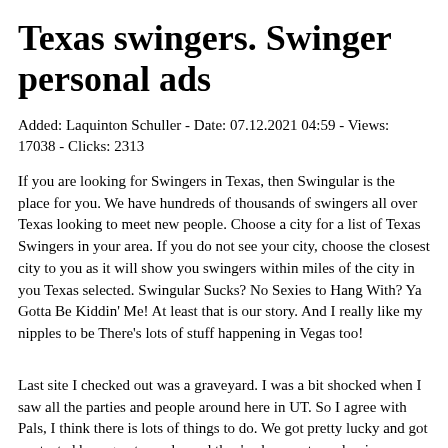Texas swingers. Swinger personal ads
Added: Laquinton Schuller - Date: 07.12.2021 04:59 - Views: 17038 - Clicks: 2313
If you are looking for Swingers in Texas, then Swingular is the place for you. We have hundreds of thousands of swingers all over Texas looking to meet new people. Choose a city for a list of Texas Swingers in your area. If you do not see your city, choose the closest city to you as it will show you swingers within miles of the city in you Texas selected. Swingular Sucks? No Sexies to Hang With? Ya Gotta Be Kiddin' Me! At least that is our story. And I really like my nipples to be There's lots of stuff happening in Vegas too!
Last site I checked out was a graveyard. I was a bit shocked when I saw all the parties and people around here in UT. So I agree with Pals, I think there is lots of things to do. We got pretty lucky and got contacted by a great couple, and they've been extremely nice